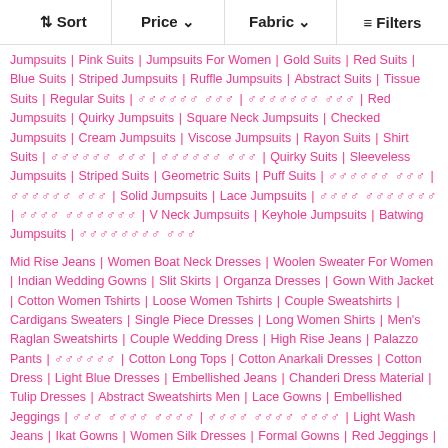Sort | Price | Fabric | Filters
Jumpsuits | Pink Suits | Jumpsuits For Women | Gold Suits | Red Suits | Blue Suits | Striped Jumpsuits | Ruffle Jumpsuits | Abstract Suits | Tissue Suits | Regular Suits | [garbled] | [garbled] | Red Jumpsuits | Quirky Jumpsuits | Square Neck Jumpsuits | Checked Jumpsuits | Cream Jumpsuits | Viscose Jumpsuits | Rayon Suits | Shirt Suits | [garbled] | [garbled] | Quirky Suits | Sleeveless Jumpsuits | Striped Suits | Geometric Suits | Puff Suits | [garbled] | [garbled] | Solid Jumpsuits | Lace Jumpsuits | [garbled] | [garbled] | V Neck Jumpsuits | Keyhole Jumpsuits | Batwing Jumpsuits | [garbled]
Mid Rise Jeans | Women Boat Neck Dresses | Woolen Sweater For Women | Indian Wedding Gowns | Slit Skirts | Organza Dresses | Gown With Jacket | Cotton Women Tshirts | Loose Women Tshirts | Couple Sweatshirts | Cardigans Sweaters | Single Piece Dresses | Long Women Shirts | Men's Raglan Sweatshirts | Couple Wedding Dress | High Rise Jeans | Palazzo Pants | [garbled] | Cotton Long Tops | Cotton Anarkali Dresses | Cotton Dress | Light Blue Dresses | Embellished Jeans | Chanderi Dress Material | Tulip Dresses | Abstract Sweatshirts Men | Lace Gowns | Embellished Jeggings | [garbled] | [garbled] | Light Wash Jeans | Ikat Gowns | Women Silk Dresses | Formal Gowns | Red Jeggings | Open Front Sweatshirts | Light Jeans | [garbled] | [garbled] | [garbled] | Coral Sweatshirts